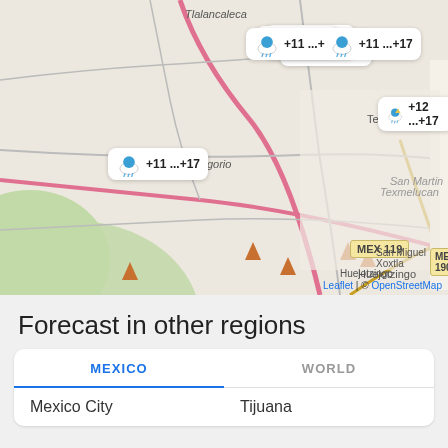[Figure (map): Street map showing the Texmelucan/San Martin area in Mexico (Puebla state) with multiple weather forecast bubbles overlaid. Bubbles show temperatures ranging from +11...+17 to +12...+18. Map labels include Tlalancaleca, Texm (Texmelucan), San Gregorio, San Martin Texmelucan, Tepetitla, Chiautzingo, MEX 119, MEX 190, Huejotzingo, San Miguel Xoxtla. Attribution: Leaflet | © OpenStreetMap.]
Forecast in other regions
MEXICO	WORLD
Mexico City	Tijuana